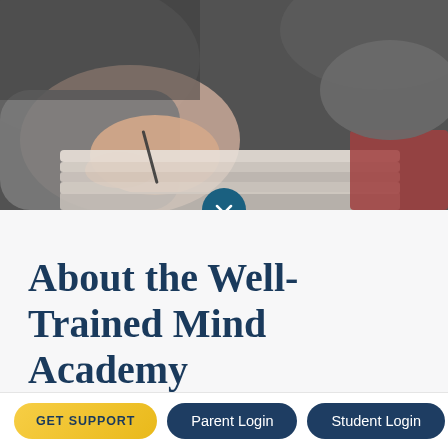[Figure (photo): Close-up photo of hands writing or drawing on paper/notebook, dark blurred background, viewed from above. A teal circular chevron-down button overlays the bottom center of the image.]
About the Well-Trained Mind Academy
The Well-Trained Mind Academy (WTMA) was founded in 2014 by Susan Wise Bauer to provide a natural extension
GET SUPPORT
Parent Login
Student Login